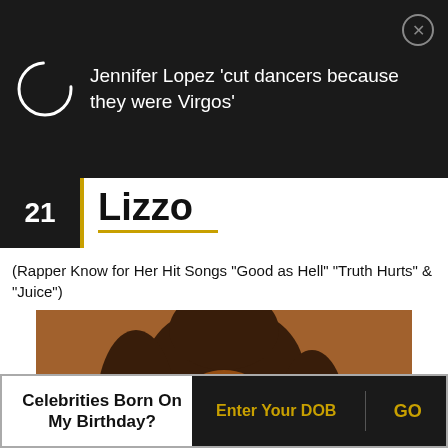Jennifer Lopez 'cut dancers because they were Virgos'
21 Lizzo
(Rapper Know for Her Hit Songs "Good as Hell" "Truth Hurts" & "Juice")
[Figure (photo): Close-up photo of Lizzo with long dark hair, looking at camera with a serious expression, warm amber/orange lighting]
Celebrities Born On My Birthday?
Enter Your DOB
GO